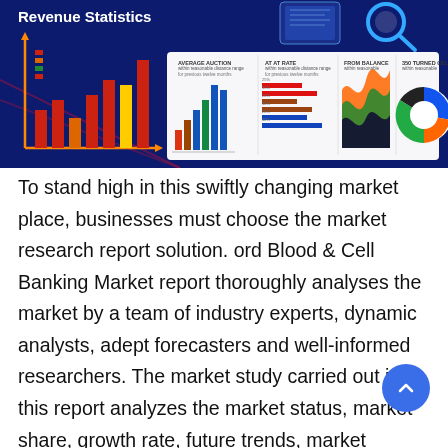[Figure (infographic): Dark navy blue infographic banner showing 'Revenue Statistics' header with various chart types including bar charts, line charts, area chart, and donut chart displayed on a dashboard.]
To stand high in this swiftly changing market place, businesses must choose the market research report solution. ord Blood & Cell Banking Market report thoroughly analyses the market by a team of industry experts, dynamic analysts, adept forecasters and well-informed researchers. The market study carried out in this report analyzes the market status, market share, growth rate, future trends, market drivers, opportunities and challenges, along with the risks and entry barriers